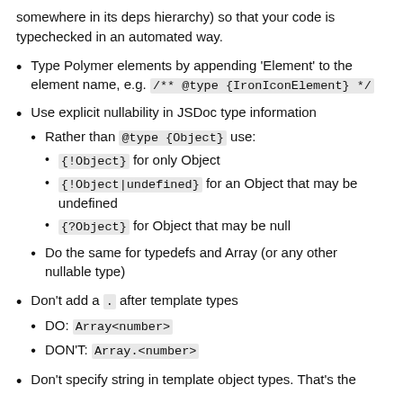somewhere in its deps hierarchy) so that your code is typechecked in an automated way.
Type Polymer elements by appending 'Element' to the element name, e.g. /** @type {IronIconElement} */
Use explicit nullability in JSDoc type information
Rather than @type {Object} use:
{!Object} for only Object
{!Object|undefined} for an Object that may be undefined
{?Object} for Object that may be null
Do the same for typedefs and Array (or any other nullable type)
Don't add a . after template types
DO: Array<number>
DON'T: Array.<number>
Don't specify string in template object types. That's the